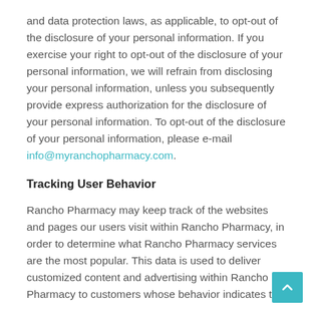and data protection laws, as applicable, to opt-out of the disclosure of your personal information. If you exercise your right to opt-out of the disclosure of your personal information, we will refrain from disclosing your personal information, unless you subsequently provide express authorization for the disclosure of your personal information. To opt-out of the disclosure of your personal information, please e-mail info@myranchopharmacy.com.
Tracking User Behavior
Rancho Pharmacy may keep track of the websites and pages our users visit within Rancho Pharmacy, in order to determine what Rancho Pharmacy services are the most popular. This data is used to deliver customized content and advertising within Rancho Pharmacy to customers whose behavior indicates that